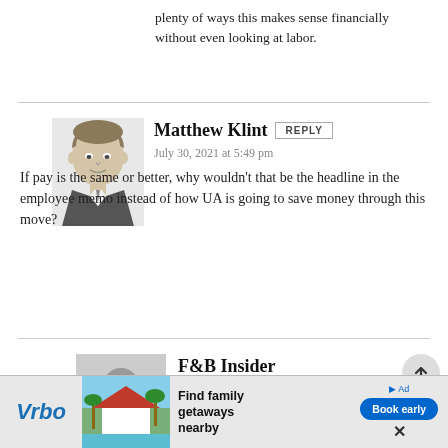plenty of ways this makes sense financially without even looking at labor.
Matthew Klint
July 30, 2021 at 5:49 pm
If pay is the same or better, why wouldn't that be the headline in the employee memo instead of how UA is going to save money through this move?
[Figure (illustration): Portrait illustration of Matthew Klint, a person in a suit]
[Figure (illustration): Generic grey silhouette avatar for F&B Insider]
F&B Insider
July 30, 2021 at 6:20 pm
Again, there are many different types of costs involved with this type of business, food and material costs are often greater than employee costs. If a
[Figure (illustration): Vrbo advertisement banner: Find family getaways nearby, Book early button]